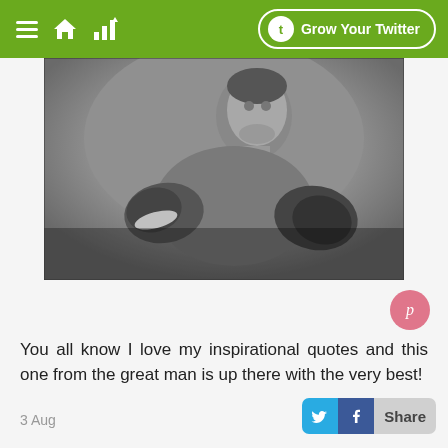Grow Your Twitter
[Figure (photo): Black and white photograph of a boxer (Muhammad Ali) in fighting stance with boxing gloves raised]
You all know I love my inspirational quotes and this one from the great man is up there with the very best!
3 Aug